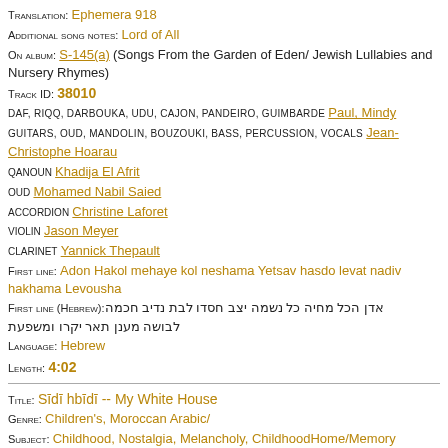Translation: Ephemera 918
Additional song notes: Lord of All
On album: S-145(a) (Songs From the Garden of Eden/ Jewish Lullabies and Nursery Rhymes)
Track ID: 38010
DAF, RIQQ, DARBOUKA, UDU, CAJON, PANDEIRO, GUIMBARDE Paul, Mindy
GUITARS, OUD, MANDOLIN, BOUZOUKI, BASS, PERCUSSION, VOCALS Jean-Christophe Hoarau
QANOUN Khadija El Afrit
OUD Mohamed Nabil Saied
ACCORDION Christine Laforet
VIOLIN Jason Meyer
CLARINET Yannick Thepault
First line: Adon Hakol mehaye kol neshama Yetsav hasdo levat nadiv hakhama Levousha
First line (Hebrew): אדן הכל מחיה כל נשמה יצב חסדו לבת נדיב חכמה לבושה מענן תאר יקרו ומשפעת
Language: Hebrew
Length: 4:02
Title: Sīdī hbīdī -- My White House
Genre: Children's, Moroccan Arabic/
Subject: Childhood, Nostalgia, Melancholy, ChildhoodHome/Memory
Transliteration: Ephemera 918